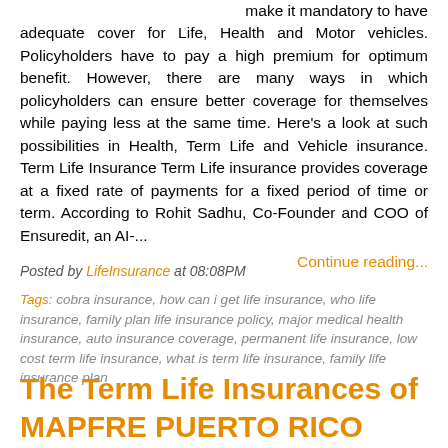make it mandatory to have adequate cover for Life, Health and Motor vehicles. Policyholders have to pay a high premium for optimum benefit. However, there are many ways in which policyholders can ensure better coverage for themselves while paying less at the same time. Here's a look at such possibilities in Health, Term Life and Vehicle insurance. Term Life Insurance Term Life insurance provides coverage at a fixed rate of payments for a fixed period of time or term. According to Rohit Sadhu, Co-Founder and COO of Ensuredit, an AI-...
Continue reading...
Posted by LifeInsurance at 08:08PM
Tags: cobra insurance, how can i get life insurance, who life insurance, family plan life insurance policy, major medical health insurance, auto insurance coverage, permanent life insurance, low cost term life insurance, what is term life insurance, family life insurance plan
The Term Life Insurances of MAPFRE PUERTO RICO